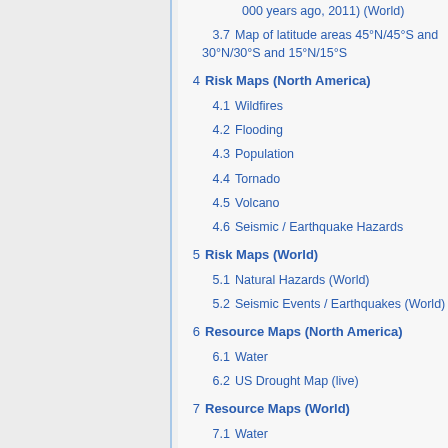000 years ago, 2011) (World)
3.7  Map of latitude areas 45°N/45°S and 30°N/30°S and 15°N/15°S
4  Risk Maps (North America)
4.1  Wildfires
4.2  Flooding
4.3  Population
4.4  Tornado
4.5  Volcano
4.6  Seismic / Earthquake Hazards
5  Risk Maps (World)
5.1  Natural Hazards (World)
5.2  Seismic Events / Earthquakes (World)
6  Resource Maps (North America)
6.1  Water
6.2  US Drought Map (live)
7  Resource Maps (World)
7.1  Water
8  Credits / Thanks